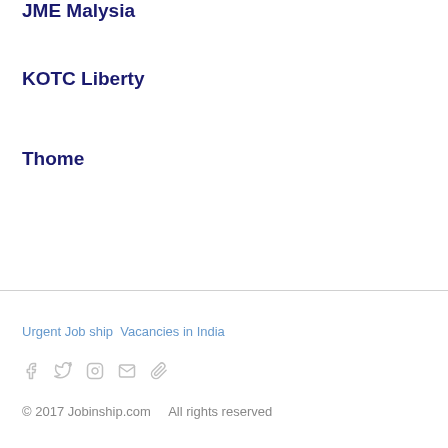JME Malysia
KOTC Liberty
Thome
Urgent Job ship  Vacancies in India
© 2017 Jobinship.com    All rights reserved